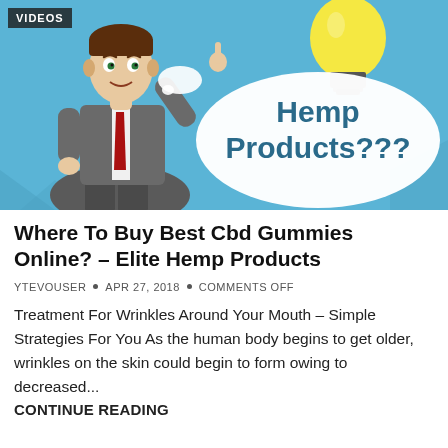[Figure (illustration): Animated cartoon illustration of a man in a grey suit with a red tie pointing upward with one finger, against a light blue background. A large white oval speech bubble on the right shows the text 'Hemp Products???' in dark teal. A yellow lightbulb with a dark base is above the speech bubble. A 'VIDEOS' badge is in the top-left corner.]
Where To Buy Best Cbd Gummies Online? – Elite Hemp Products
YTEVOUSER  •  APR 27, 2018  •  COMMENTS OFF
Treatment For Wrinkles Around Your Mouth – Simple Strategies For You As the human body begins to get older, wrinkles on the skin could begin to form owing to decreased...
CONTINUE READING